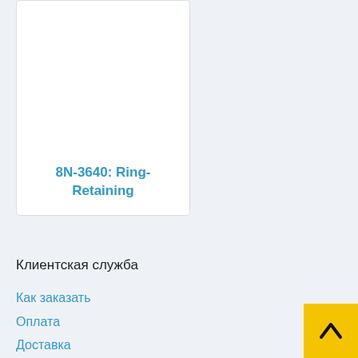[Figure (other): Product card showing white box with blue bold title '8N-3640: Ring-Retaining']
Клиентская служба
Как заказать
Оплата
Доставка
Обмен и возврат
Бонусная программа